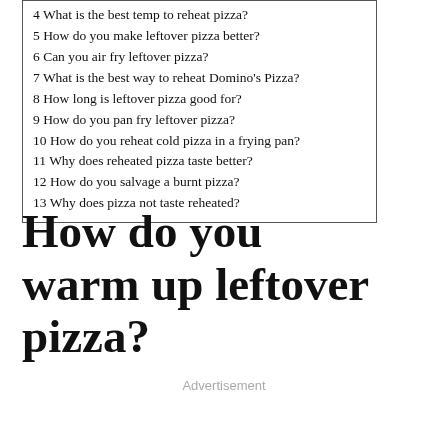4 What is the best temp to reheat pizza?
5 How do you make leftover pizza better?
6 Can you air fry leftover pizza?
7 What is the best way to reheat Domino's Pizza?
8 How long is leftover pizza good for?
9 How do you pan fry leftover pizza?
10 How do you reheat cold pizza in a frying pan?
11 Why does reheated pizza taste better?
12 How do you salvage a burnt pizza?
13 Why does pizza not taste reheated?
How do you warm up leftover pizza?
Advertisement